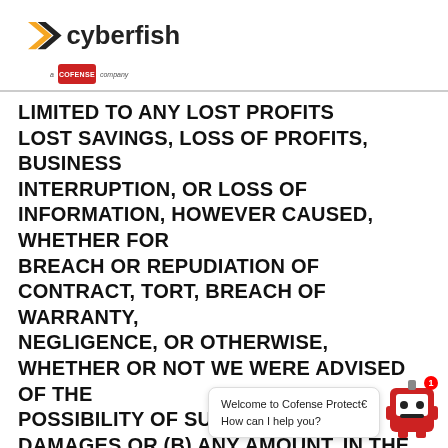[Figure (logo): Cyberfish logo with 'a Cofense company' badge]
LIMITED TO ANY LOST PROFITS LOST SAVINGS, LOSS OF PROFITS, BUSINESS INTERRUPTION, OR LOSS OF INFORMATION, HOWEVER CAUSED, WHETHER FOR BREACH OR REPUDIATION OF CONTRACT, TORT, BREACH OF WARRANTY, NEGLIGENCE, OR OTHERWISE, WHETHER OR NOT WE WERE ADVISED OF THE POSSIBILITY OF SUCH LOSS OR DAMAGES OR (B) ANY AMOUNT, IN THE AGGREGATE, IN EXCESS OF THE GREATER OF ... TS BY YOU TO U... SERVICES DURING THE TWELVE (12) MONTHS